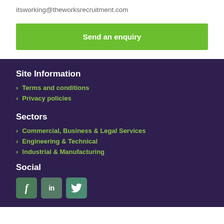itsworking@theworksrecruitment.com
Send an enquiry
Site Information
> Terms and conditions
> Privacy policies
Sectors
> Commercial, Business & Legal Services
> Engineering & Technical
> Industrial & Manufacturing
Social
[Figure (other): Social media icons: Facebook (f), LinkedIn (in), Twitter bird icon]